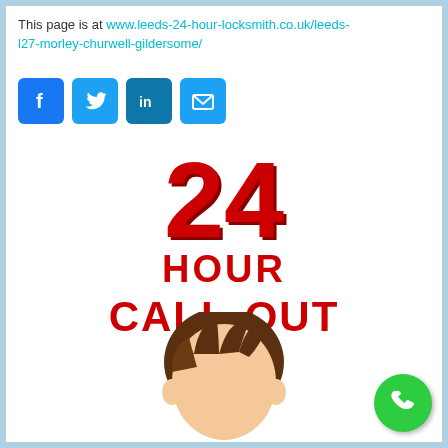This page is at www.leeds-24-hour-locksmith.co.uk/leeds-l27-morley-churwell-gildersome/
[Figure (infographic): Social media icons: Facebook (blue f), Twitter (blue bird), LinkedIn (blue in), Email (blue envelope)]
[Figure (infographic): Large red bold text '24' with shadow, below it 'HOUR' and 'CALL-OUT' in red bold uppercase letters]
[Figure (illustration): Cartoon illustration of a locksmith character's head with brown hair, partially visible at bottom center. Green phone call button at bottom right.]